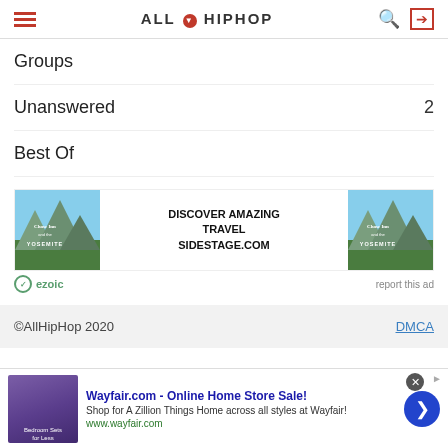AllHipHop
Groups
Unanswered  2
Best Of
[Figure (infographic): Advertisement banner for SideStage.com travel site, showing Yosemite mountain images on left and right with text 'DISCOVER AMAZING TRAVEL SIDESTAGE.COM' in the center. Ezoic branding below left, 'report this ad' link below right.]
©AllHipHop 2020   DMCA
[Figure (infographic): Bottom advertisement for Wayfair.com - Online Home Store Sale! Shop for A Zillion Things Home across all styles at Wayfair! www.wayfair.com]